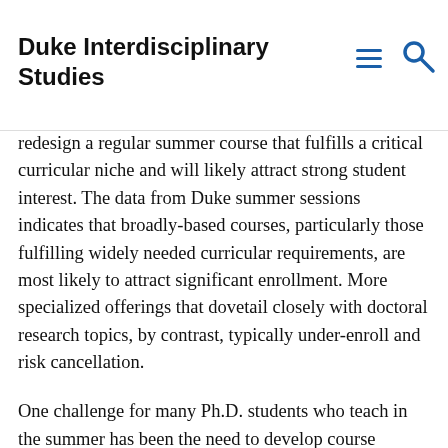Duke Interdisciplinary Studies
redesign a regular summer course that fulfills a critical curricular niche and will likely attract strong student interest. The data from Duke summer sessions indicates that broadly-based courses, particularly those fulfilling widely needed curricular requirements, are most likely to attract significant enrollment. More specialized offerings that dovetail closely with doctoral research topics, by contrast, typically under-enroll and risk cancellation.
One challenge for many Ph.D. students who teach in the summer has been the need to develop course materials. Through this funding opportunity, we hope to generate departmental or program resources that